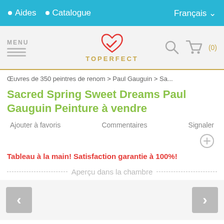• Aides  • Catalogue  Français ∨
[Figure (logo): Toperfect logo with red heart/checkmark icon and gold text TOPERFECT, with MENU hamburger icon on left and search/cart icons on right]
Œuvres de 350 peintres de renom > Paul Gauguin > Sa...
Sacred Spring Sweet Dreams Paul Gauguin Peinture à vendre
Ajouter à favoris   Commentaires   Signaler
Tableau à la main! Satisfaction garantie à 100%!
Aperçu dans la chambre